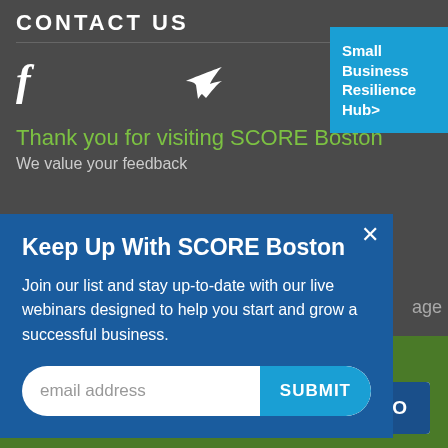CONTACT US
f (Facebook icon) and Twitter icon
Small Business Resilience Hub>
Thank you for visiting SCORE Boston
We value your feedback
Keep Up With SCORE Boston
Join our list and stay up-to-date with our live webinars designed to help you start and grow a successful business.
email address SUBMIT
age
Sign up for SCORE's Newsletter
Enter Email Address GO